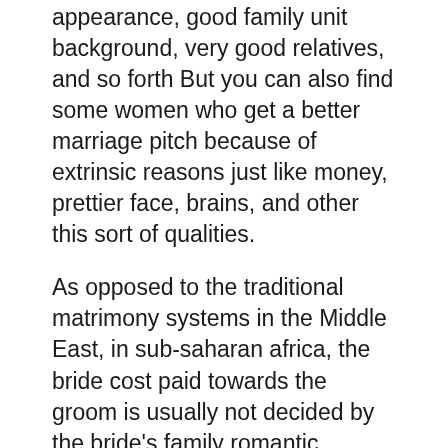appearance, good family unit background, very good relatives, and so forth But you can also find some women who get a better marriage pitch because of extrinsic reasons just like money, prettier face, brains, and other this sort of qualities.
As opposed to the traditional matrimony systems in the Middle East, in sub-saharan africa, the bride cost paid towards the groom is usually not decided by the bride's family romantic relationship to the groom or simply by her home background or perhaps by the bride's monetary riches. The price directed at the new bride is also not really determined by age the star of the event, nor is it set by simply her education or job or simply by her relationship status. Actually the bride's family will most likely not pay the price at all. The dowries much more like “bartering” or perhaps trading, and it is normally paid out only among two households or among a handful of loved ones.
Sometimes, the bride selling price in the